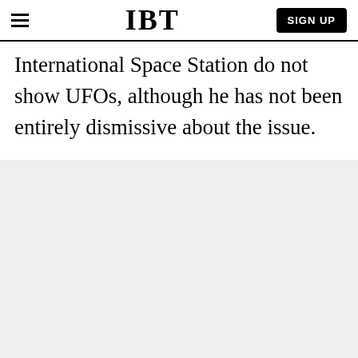IBT | SIGN UP
International Space Station do not show UFOs, although he has not been entirely dismissive about the issue.